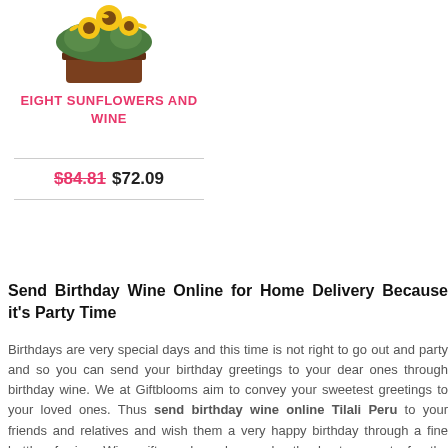[Figure (photo): Sunflower arrangement in a brown rectangular pot/container, viewed from above and slightly to the side, with yellow sunflowers and green foliage.]
EIGHT SUNFLOWERS AND WINE
$84.81  $72.09
Send Birthday Wine Online for Home Delivery Because it's Party Time
Birthdays are very special days and this time is not right to go out and party and so you can send your birthday greetings to your dear ones through birthday wine. We at Giftblooms aim to convey your sweetest greetings to your loved ones. Thus send birthday wine online Tilali Peru to your friends and relatives and wish them a very happy birthday through a fine bottle of wine. Wine gifts and combos make the best presents for the birthday of your special ones so that they can spend a beautiful time with their loved ones over a glass of wine.